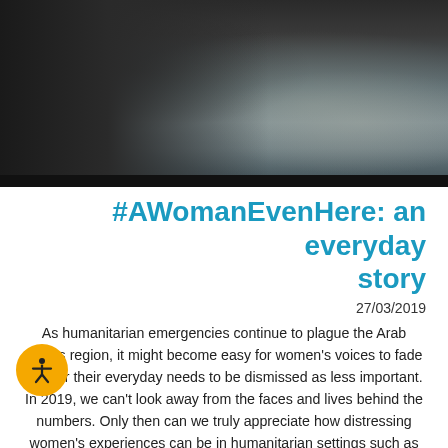[Figure (photo): Dark photograph showing a silhouetted figure, likely a woman wearing dark clothing, with blurred background in grey/blue tones.]
#AWomanEvenHere: an everyday story
27/03/2019
As humanitarian emergencies continue to plague the Arab States region, it might become easy for women's voices to fade and for their everyday needs to be dismissed as less important. In 2019, we can't look away from the faces and lives behind the numbers. Only then can we truly appreciate how distressing women's experiences can be in humanitarian settings such as being on the move while pregnant, or having to give birth while cut off from all medical support, or enduring the loss of pride that results from something as simple as menstruating with no access to sanitary pads. For eight weeks, UNFPA has run a storytelling campaign under the title